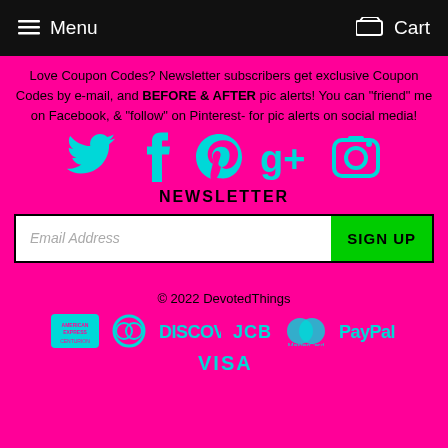Menu  Cart
Love Coupon Codes? Newsletter subscribers get exclusive Coupon Codes by e-mail, and BEFORE & AFTER pic alerts! You can "friend" me on Facebook, & "follow" on Pinterest- for pic alerts on social media!
[Figure (infographic): Social media icons: Twitter, Facebook, Pinterest, Google+, Instagram in cyan/teal color on magenta background]
NEWSLETTER
[Figure (infographic): Email newsletter signup form with Email Address input field and green SIGN UP button]
© 2022 DevotedThings
[Figure (infographic): Payment method icons: American Express, Diners Club, Discover, JCB, MasterCard, PayPal, Visa in cyan on magenta background]